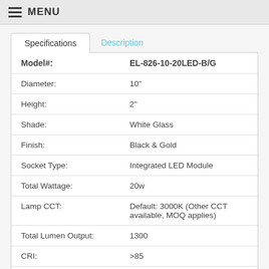MENU
| Specification | Value |
| --- | --- |
| Model#: | EL-826-10-20LED-B/G |
| Diameter: | 10" |
| Height: | 2" |
| Shade: | White Glass |
| Finish: | Black & Gold |
| Socket Type: | Integrated LED Module |
| Total Wattage: | 20w |
| Lamp CCT: | Default: 3000K (Other CCT available, MOQ applies) |
| Total Lumen Output: | 1300 |
| CRI: | >85 |
| Dimmable: | Yes |
| Voltage: | 120V |
| Dimmer Range: | 10-100% |